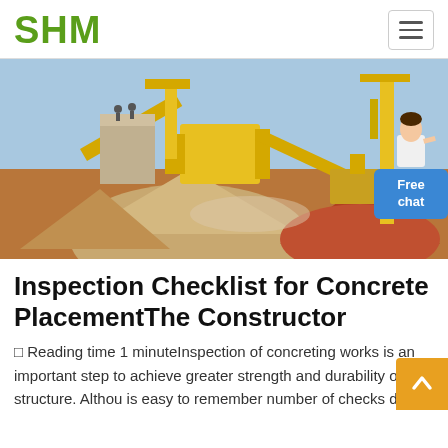SHM
[Figure (photo): Industrial concrete/aggregate plant with yellow cranes and conveyor belts, piles of gravel and sand, construction site]
Inspection Checklist for Concrete PlacementThe Constructor
☐ Reading time 1 minuteInspection of concreting works is an important step to achieve greater strength and durability of the structure. Althou is easy to remember number of checks during